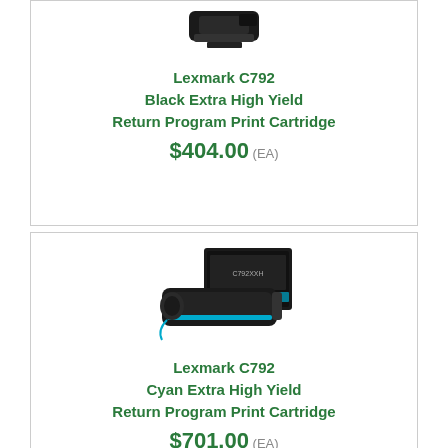[Figure (photo): Lexmark C792 black toner cartridge product photo (partially visible at top)]
Lexmark C792
Black Extra High Yield
Return Program Print Cartridge
$404.00 (EA)
[Figure (photo): Lexmark C792 cyan toner cartridge with box product photo]
Lexmark C792
Cyan Extra High Yield
Return Program Print Cartridge
$701.00 (EA)